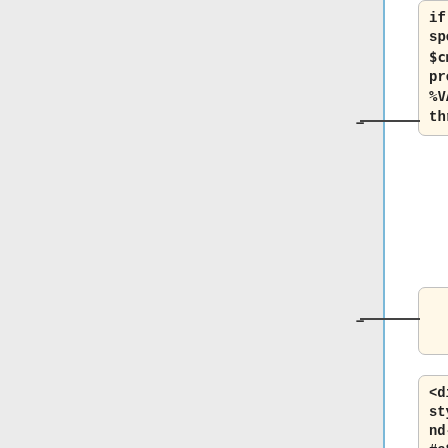if a variable is specified in $cmd, but not present in %VARS a die is thrown.
<div style='background-color: #e8e8f; margin: 0.5em 0em 1em 0em; border: solid 1px #cce; padding: 0em 1em 0em 1em; font-size: 80%; '>
<span style='display:none'>User